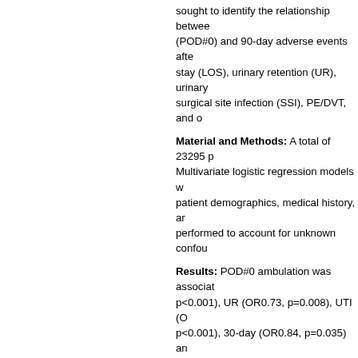sought to identify the relationship between (POD#0) and 90-day adverse events after stay (LOS), urinary retention (UR), urinary surgical site infection (SSI), PE/DVT, and o
Material and Methods: A total of 23295 p Multivariate logistic regression models w patient demographics, medical history, ar performed to account for unknown confou
Results: POD#0 ambulation was associat p<0.001), UR (OR0.73, p=0.008), UTI (O p<0.001), 30-day (OR0.84, p=0.035) and and rehab discharge (OR0.52, p<0.001) f single-level decompression (6244 patient (OR0.73, p=0.004), UTI (OR0.43, p=0.00 p<0.001). Ambulation after multi-level de associated with decreased LOS (OR0.73, (OR0.60, p=0.027), and rehab discharge single-level fusion (5790 patients) decrea readmission (OR0.77, p=0.032) and reha Ambulation after multi-level fusion (5735 p<0.001), UTI (OR0.60, p=0.003), ileus ( (OR0.77, p=0.032), and rehab discharge or DVT/PE was observed for patients wh
Conclusion: POD#0 ambulation is associ